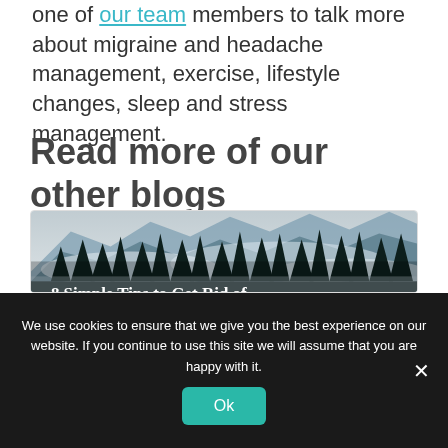one of our team members to talk more about migraine and headache management, exercise, lifestyle changes, sleep and stress management.
Read more of our other blogs
[Figure (photo): Mountain landscape with forest silhouette and misty clouds, overlaid with text '8 Simple Tips to Get Rid of Headaches Naturally' by Vicky Xu and Betty Huang]
We use cookies to ensure that we give you the best experience on our website. If you continue to use this site we will assume that you are happy with it.